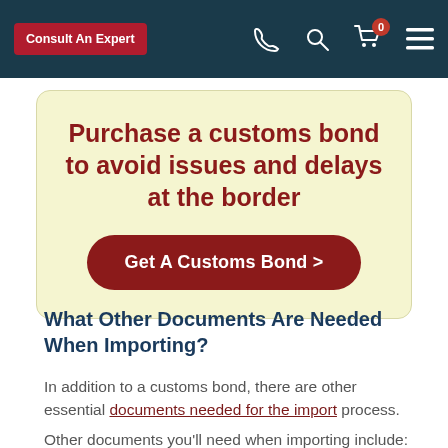Consult An Expert | [phone icon] | [search icon] | [cart icon] 0 | [menu icon]
Purchase a customs bond to avoid issues and delays at the border
Get A Customs Bond >
What Other Documents Are Needed When Importing?
In addition to a customs bond, there are other essential documents needed for the import process.
Other documents you'll need when importing include: